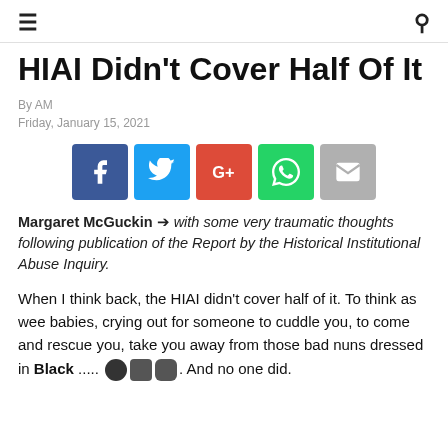≡  🔍
HIAI Didn't Cover Half Of It
By AM
Friday, January 15, 2021
[Figure (infographic): Social media share buttons: Facebook, Twitter, Google+, WhatsApp, Email]
Margaret McGuckin ➔ with some very traumatic thoughts following publication of the Report by the Historical Institutional Abuse Inquiry.
When I think back, the HIAI didn't cover half of it. To think as wee babies, crying out for someone to cuddle you, to come and rescue you, take you away from those bad nuns dressed in Black ..... [emoji dots]. And no one did.